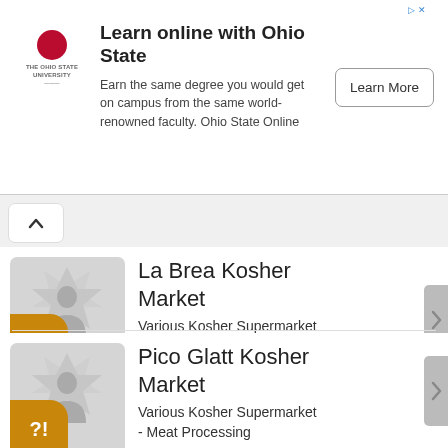[Figure (infographic): The Ohio State University advertisement banner with logo, text, and Learn More button]
Learn online with Ohio State
Earn the same degree you would get on campus from the same world-renowned faculty. Ohio State Online
La Brea Kosher Market
Various Kosher Supermarket - Meat Processing
Information is obtained from OK Kosher. USA
Pico Glatt Kosher Market
Various Kosher Supermarket - Meat Processing
Information is obtained from OK Kosher. USA
Kurson Kosher